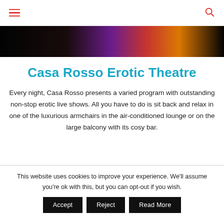[hamburger menu icon] [search icon]
[Figure (photo): Dark hero image with colorful light streaks on black background]
Casa Rosso Erotic Theatre
Every night, Casa Rosso presents a varied program with outstanding non-stop erotic live shows. All you have to do is sit back and relax in one of the luxurious armchairs in the air-conditioned lounge or on the large balcony with its cosy bar.
This website uses cookies to improve your experience. We'll assume you're ok with this, but you can opt-out if you wish.